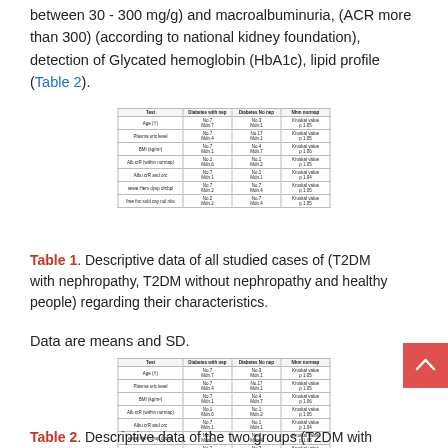between 30 - 300 mg/g) and macroalbuminuria, (ACR more than 300) (according to national kidney foundation), detection of Glycated hemoglobin (HbA1c), lipid profile (Table 2).
[Figure (table-as-image): Small miniature table image - Table 1 data preview]
Table 1. Descriptive data of all studied cases of (T2DM with nephropathy, T2DM without nephropathy and healthy people) regarding their characteristics.
Data are means and SD.
[Figure (table-as-image): Small miniature table image - Table 2 data preview]
Table 2. Descriptive data of the two groups (T2DM with